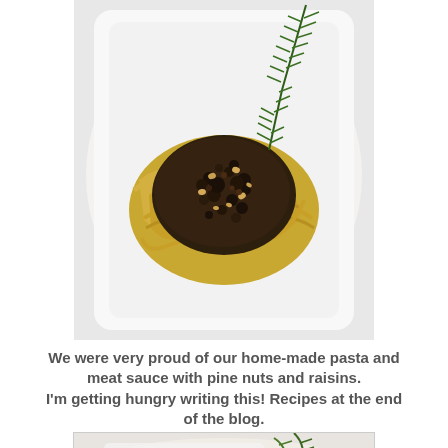[Figure (photo): Overhead photo of pappardelle pasta with dark meat sauce topped with pine nuts and raisins, served on a white square plate with a rosemary sprig garnish]
We were very proud of our home-made pasta and meat sauce with pine nuts and raisins. I'm getting hungry writing this! Recipes at the end of the blog.
[Figure (photo): Partial view of another food photo at the bottom of the page, showing what appears to be another dish with green herbs]